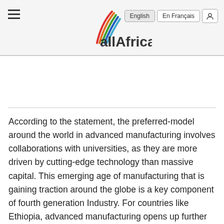allAfrica — English | En Français
According to the statement, the preferred-model around the world in advanced manufacturing involves collaborations with universities, as they are more driven by cutting-edge technology than massive capital. This emerging age of manufacturing that is gaining traction around the globe is a key component of fourth generation Industry. For countries like Ethiopia, advanced manufacturing opens up further possibilities in fintech, big data analytics, advanced robotics, cyber-security, artificial intelligence, precision medicine, and agri-tech, it said.